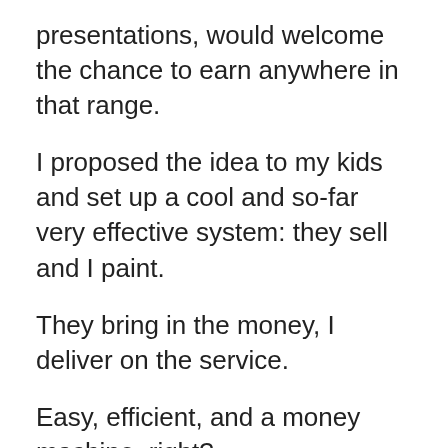presentations, would welcome the chance to earn anywhere in that range.
I proposed the idea to my kids and set up a cool and so-far very effective system: they sell and I paint.
They bring in the money, I deliver on the service.
Easy, efficient, and a money machine, right?
EXACTLY! The first night, in two hours, they collected $65.  Not bad at all.  The second night, in two hours, they collected $100.  In four hours they sold $165, which is about $41/hour.  That is